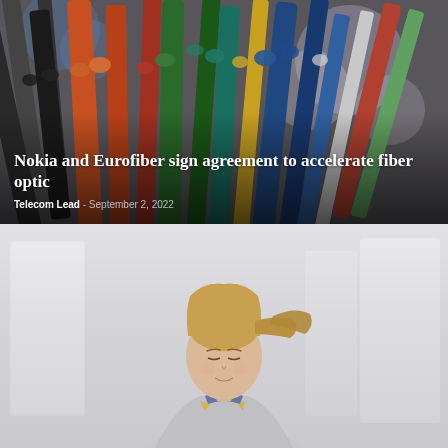[Figure (photo): Close-up photo of multiple colorful fiber optic cables bundled together, against a blurred background. Colors visible include black, orange, green, teal, blue, yellow, and red cables.]
Nokia and Eurofiber sign agreement to accelerate fiber optic
Telecom Lead - September 2, 2022
[Figure (photo): Photo of a young woman with blonde hair in a ponytail, wearing a light gray jacket, looking downward. The background shows a bright, light-colored corridor or hallway.]